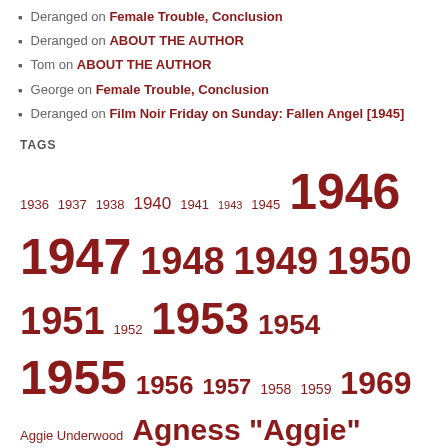Deranged on Female Trouble, Conclusion
Deranged on ABOUT THE AUTHOR
Tom on ABOUT THE AUTHOR
George on Female Trouble, Conclusion
Deranged on Film Noir Friday on Sunday: Fallen Angel [1945]
TAGS
1936 1937 1938 1940 1941 1943 1945 1946 1947 1948 1949 1950 1951 1952 1953 1954 1955 1956 1957 1958 1959 1969 Aggie Underwood Agness "Aggie" Underwood Alfred Hitchcock Barbara Graham Barbara Stanwyck Black Dahlia Clara Bow Dan Duryea Det. Sgt. Ned Lovretovich Elizabeth Short Emmett Perkins homicide Jack Santo James Ellroy Jr. Louise Peete Mabel